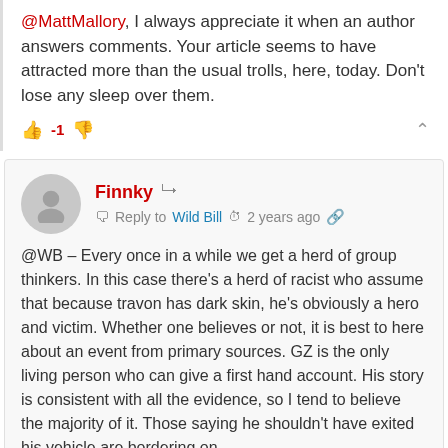@MattMallory, I always appreciate it when an author answers comments. Your article seems to have attracted more than the usual trolls, here, today. Don't lose any sleep over them.
-1 [vote count with thumbs up/down icons]
Finnky — Reply to Wild Bill — 2 years ago
@WB – Every once in a while we get a herd of group thinkers. In this case there's a herd of racist who assume that because travon has dark skin, he's obviously a hero and victim. Whether one believes or not, it is best to here about an event from primary sources. GZ is the only living person who can give a first hand account. His story is consistent with all the evidence, so I tend to believe the majority of it. Those saying he shouldn't have exited his vehicle are bordering on